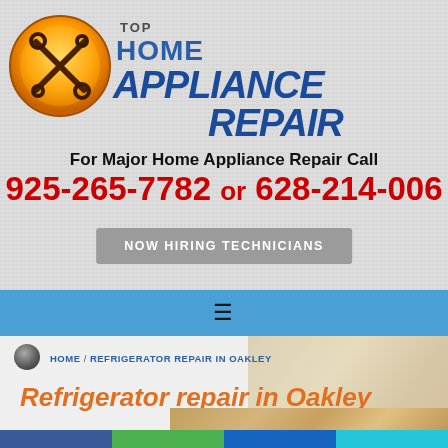[Figure (logo): Top Home Appliance Repair logo with wrench/tool icon and blue bold text]
For Major Home Appliance Repair Call
925-265-7782 or 628-214-006
NOW HIRING TECHNICIANS
HOME / REFRIGERATOR REPAIR IN OAKLEY
Refrigerator repair in Oakley
We